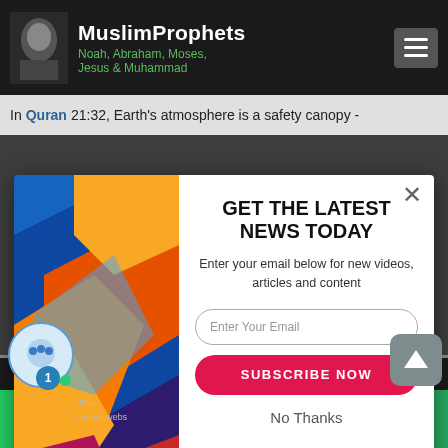MuslimProphets — Noah, Abraham, Moses, Jesus & Muhammad
In Quran 21:32, Earth's atmosphere is a safety canopy -
[Figure (screenshot): Colorful 3D geometric cube illustration on the left side of popup modal]
GET THE LATEST NEWS TODAY
Enter your email below for new videos, articles and content
Enter Your Email
SUBSCRIBE NOW
No Thanks
SUMO | Social share icons: WhatsApp, Facebook, Like, Twitter, SMS